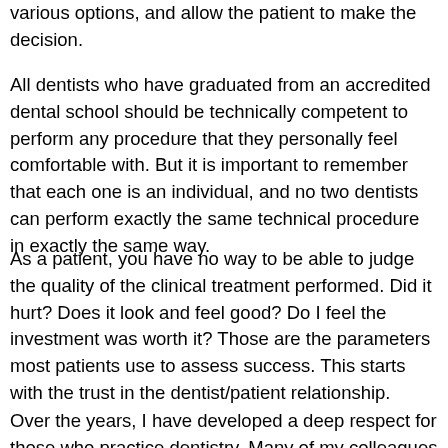various options, and allow the patient to make the decision.
All dentists who have graduated from an accredited dental school should be technically competent to perform any procedure that they personally feel comfortable with. But it is important to remember that each one is an individual, and no two dentists can perform exactly the same technical procedure in exactly the same way.
As a patient, you have no way to be able to judge the quality of the clinical treatment performed. Did it hurt? Does it look and feel good? Do I feel the investment was worth it? Those are the parameters most patients use to assess success. This starts with the trust in the dentist/patient relationship.
Over the years, I have developed a deep respect for those who practice dentistry. Many of my colleagues